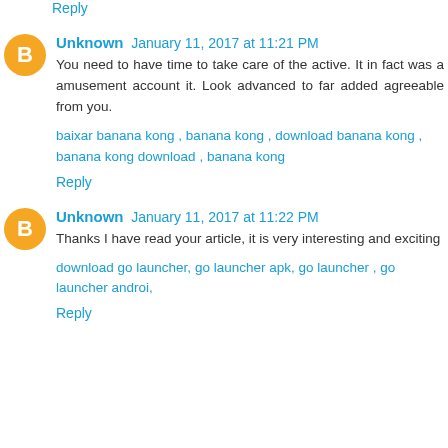Reply
Unknown January 11, 2017 at 11:21 PM
You need to have time to take care of the active. It in fact was a amusement account it. Look advanced to far added agreeable from you.
baixar banana kong , banana kong , download banana kong , banana kong download , banana kong
Reply
Unknown January 11, 2017 at 11:22 PM
Thanks I have read your article, it is very interesting and exciting
download go launcher, go launcher apk, go launcher , go launcher androi,
Reply